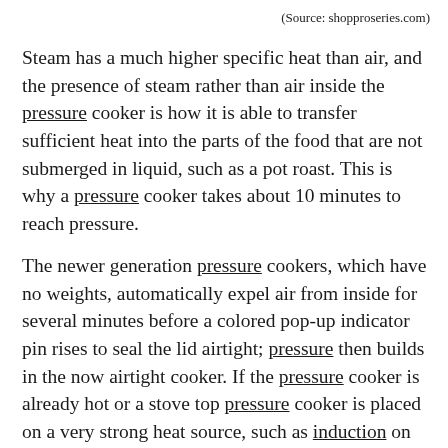(Source: shopproseries.com)
Steam has a much higher specific heat than air, and the presence of steam rather than air inside the pressure cooker is how it is able to transfer sufficient heat into the parts of the food that are not submerged in liquid, such as a pot roast. This is why a pressure cooker takes about 10 minutes to reach pressure.
The newer generation pressure cookers, which have no weights, automatically expel air from inside for several minutes before a colored pop-up indicator pin rises to seal the lid airtight; pressure then builds in the now airtight cooker. If the pressure cooker is already hot or a stove top pressure cooker is placed on a very strong heat source, such as induction on too high a setting, the lid can seal airtight too quickly before the air